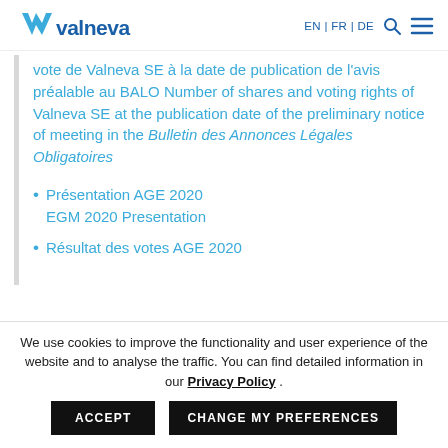valneva EN | FR | DE
vote de Valneva SE à la date de publication de l'avis préalable au BALO Number of shares and voting rights of Valneva SE at the publication date of the preliminary notice of meeting in the Bulletin des Annonces Légales Obligatoires
Présentation AGE 2020 EGM 2020 Presentation
Résultat des votes AGE 2020
We use cookies to improve the functionality and user experience of the website and to analyse the traffic. You can find detailed information in our Privacy Policy .
ACCEPT  CHANGE MY PREFERENCES